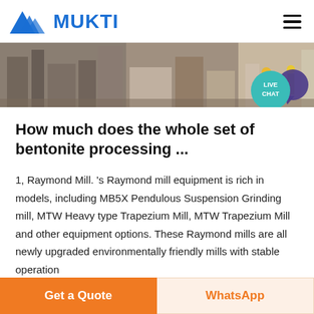[Figure (logo): MUKTI company logo with blue triangular mountain icon and bold blue MUKTI text]
[Figure (photo): Industrial/mining site banner photo showing workers and equipment at a processing plant]
[Figure (other): Teal circular LIVE CHAT button with speech bubble icon in the top-right of the banner]
How much does the whole set of bentonite processing ...
1, Raymond Mill. 's Raymond mill equipment is rich in models, including MB5X Pendulous Suspension Grinding mill, MTW Heavy type Trapezium Mill, MTW Trapezium Mill and other equipment options. These Raymond mills are all newly upgraded environmentally friendly mills with stable operation
Get a Quote
WhatsApp